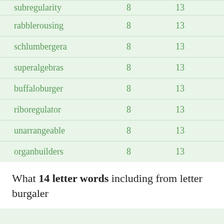| word | col2 | col3 |
| --- | --- | --- |
| subregularity | 8 | 13 |
| rabblerousing | 8 | 13 |
| schlumbergera | 8 | 13 |
| superalgebras | 8 | 13 |
| buffaloburger | 8 | 13 |
| riboregulator | 8 | 13 |
| unarrangeable | 8 | 13 |
| organbuilders | 8 | 13 |
What 14 letter words including from letter burgaler